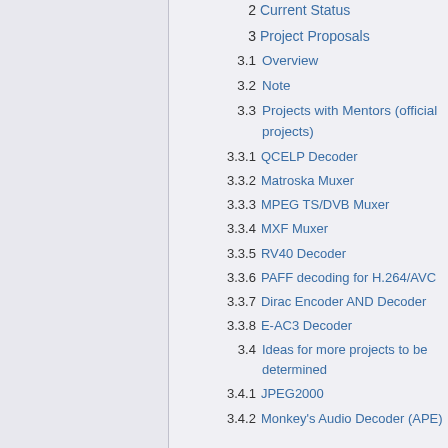2  Current Status
3  Project Proposals
3.1  Overview
3.2  Note
3.3  Projects with Mentors (official projects)
3.3.1  QCELP Decoder
3.3.2  Matroska Muxer
3.3.3  MPEG TS/DVB Muxer
3.3.4  MXF Muxer
3.3.5  RV40 Decoder
3.3.6  PAFF decoding for H.264/AVC
3.3.7  Dirac Encoder AND Decoder
3.3.8  E-AC3 Decoder
3.4  Ideas for more projects to be determined
3.4.1  JPEG2000
3.4.2  Monkey's Audio Decoder (APE)